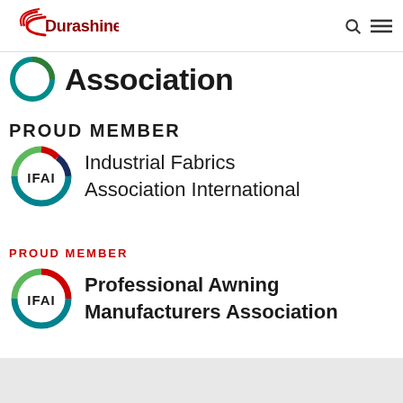Durashine [navigation bar with search and menu icons]
[Figure (logo): Partial IFAI circular logo with teal/blue ring and the word 'Association' in large bold dark text]
PROUD MEMBER
[Figure (logo): IFAI circular logo (green, red, teal ring with IFAI text inside) next to text 'Industrial Fabrics Association International']
PROUD MEMBER
[Figure (logo): IFAI circular logo (red, green, teal ring with IFAI text inside) next to text 'Professional Awning Manufacturers Association']